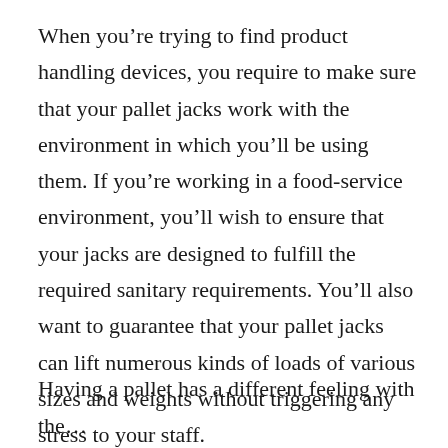When you're trying to find product handling devices, you require to make sure that your pallet jacks work with the environment in which you'll be using them. If you're working in a food-service environment, you'll wish to ensure that your jacks are designed to fulfill the required sanitary requirements. You'll also want to guarantee that your pallet jacks can lift numerous kinds of loads of various sizes and weights without triggering any stress to your staff.
Having a pallet has a different feeling with the...